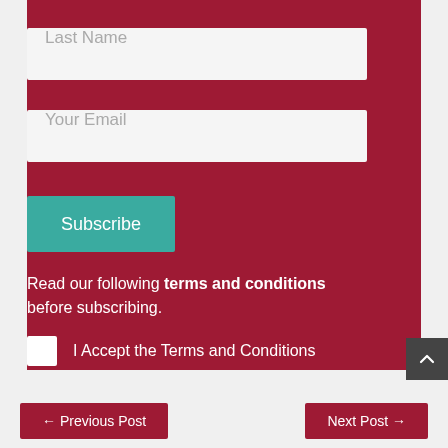Last Name
Your Email
Subscribe
Read our following terms and conditions before subscribing.
I Accept the Terms and Conditions
← Previous Post    Next Post →